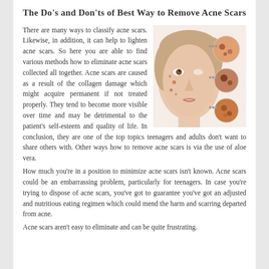The Do's and Don'ts of Best Way to Remove Acne Scars
[Figure (photo): Woman's face with acne scars shown on left side, and three circular close-up images of skin/acne spots on the right side]
There are many ways to classify acne scars. Likewise, in addition, it can help to lighten acne scars. So here you are able to find various methods how to eliminate acne scars collected all together. Acne scars are caused as a result of the collagen damage which might acquire permanent if not treated properly. They tend to become more visible over time and may be detrimental to the patient's self-esteem and quality of life. In conclusion, they are one of the top topics teenagers and adults don't want to share others with. Other ways how to remove acne scars is via the use of aloe vera.
How much you're in a position to minimize acne scars isn't known. Acne scars could be an embarrassing problem, particularly for teenagers. In case you're trying to dispose of acne scars, you've got to guarantee you've got an adjusted and nutritious eating regimen which could mend the harm and scarring departed from acne.
Acne scars aren't easy to eliminate and can be quite frustrating.